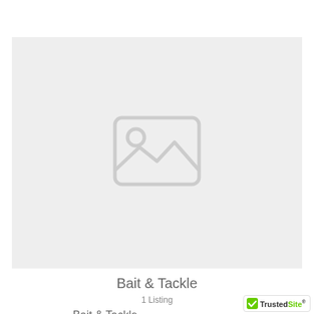[Figure (illustration): Placeholder image icon showing a landscape/photo symbol on a light gray background]
Bait & Tackle
1 Listing
Bait & Tackle
[Figure (logo): TrustedSite badge with green checkmark]